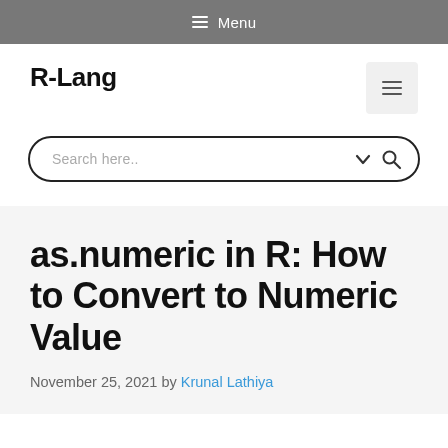☰ Menu
R-Lang
[Figure (other): Hamburger menu button (three horizontal lines) in a light grey square button]
Search here..
as.numeric in R: How to Convert to Numeric Value
November 25, 2021 by Krunal Lathiya